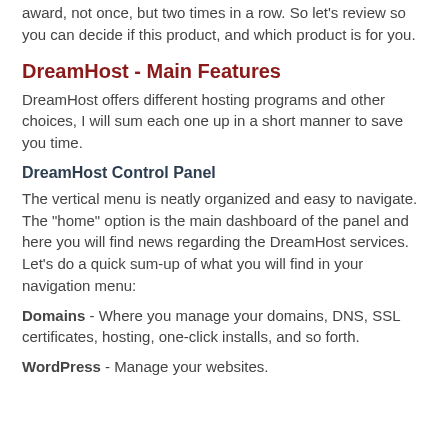award, not once, but two times in a row. So let's review so you can decide if this product, and which product is for you.
DreamHost - Main Features
DreamHost offers different hosting programs and other choices, I will sum each one up in a short manner to save you time.
DreamHost Control Panel
The vertical menu is neatly organized and easy to navigate. The "home" option is the main dashboard of the panel and here you will find news regarding the DreamHost services. Let's do a quick sum-up of what you will find in your navigation menu:
Domains - Where you manage your domains, DNS, SSL certificates, hosting, one-click installs, and so forth.
WordPress - Manage your websites.